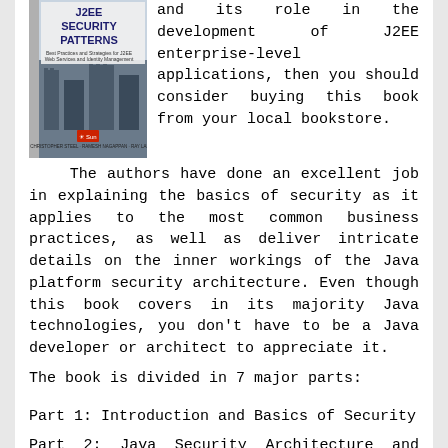[Figure (illustration): Book cover of 'J2EE Security Patterns' showing the title and a background image of what appears to be a fortified structure or castle. Sun Microsystems branding visible.]
and its role in the development of J2EE enterprise-level applications, then you should consider buying this book from your local bookstore.
The authors have done an excellent job in explaining the basics of security as it applies to the most common business practices, as well as deliver intricate details on the inner workings of the Java platform security architecture. Even though this book covers in its majority Java technologies, you don't have to be a Java developer or architect to appreciate it.
The book is divided in 7 major parts:
Part 1: Introduction and Basics of Security
Part 2: Java Security Architecture and Technologies
Part 3: Web Services Security and Identity Management
Part 4: Security Design Methodology, Patterns, and Reality Checks
Part 5: Design Strategies and Best Practices